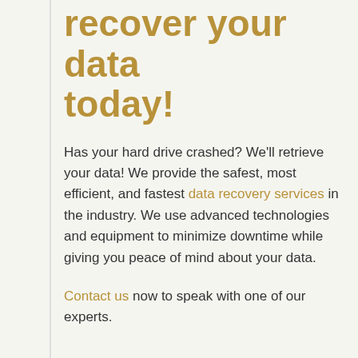recover your data today!
Has your hard drive crashed? We'll retrieve your data! We provide the safest, most efficient, and fastest data recovery services in the industry. We use advanced technologies and equipment to minimize downtime while giving you peace of mind about your data.
Contact us now to speak with one of our experts.